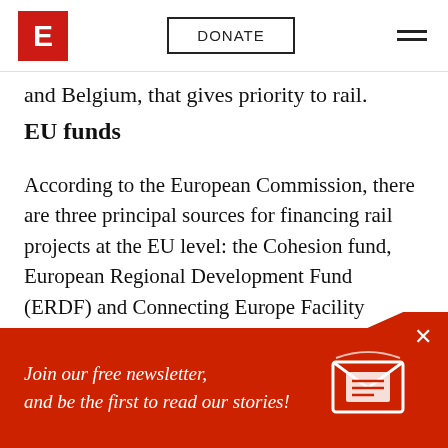E | DONATE | [menu]
and Belgium, that gives priority to rail.
EU funds
According to the European Commission, there are three principal sources for financing rail projects at the EU level: the Cohesion fund, European Regional Development Fund (ERDF) and Connecting Europe Facility (CEF). Investigate Europe analysed all of them for the two funding periods, 2007-2013 and 2014-2020. There was no clear and comprehensive
Join our free newsletter, and be the first to read our stories!